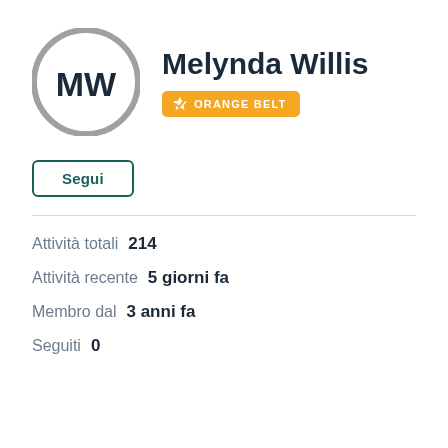[Figure (illustration): Circular avatar with grey border containing bold black initials MW on white background]
Melynda Willis
ORANGE BELT
Segui
Attività totali 214
Attività recente 5 giorni fa
Membro dal 3 anni fa
Seguiti 0